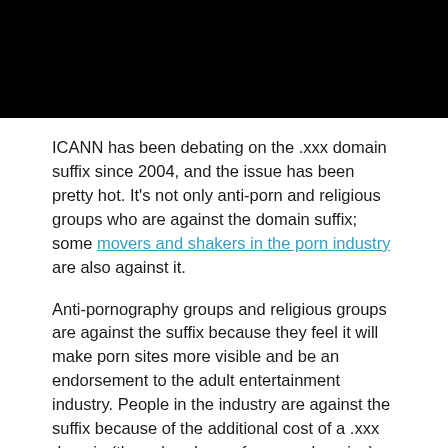[Figure (photo): Black redacted image bar at the top of the page]
ICANN has been debating on the .xxx domain suffix since 2004, and the issue has been pretty hot. It’s not only anti-porn and religious groups who are against the domain suffix; some movers and shakers in the porn industry are also against it.
Anti-pornography groups and religious groups are against the suffix because they feel it will make porn sites more visible and be an endorsement to the adult entertainment industry. People in the industry are against the suffix because of the additional cost of a .xxx domain (they already pay for .com domains), as well as the fear that some content in a would-be xxx domain industry at the